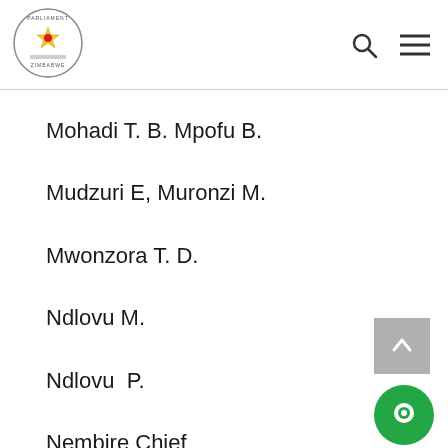Parliament of Zimbabwe header with logo, search icon, and menu icon
Mohadi T. B. Mpofu B.
Mudzuri E, Muronzi M.
Mwonzora T. D.
Ndlovu M.
Ndlovu  P.
Nembire Chief
Ngezi Chief
Ngungumbane Chief
Nhema Chief